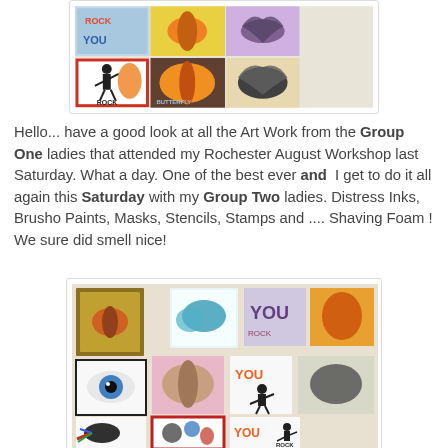[Figure (photo): Photo collage of craft artwork cards from Group One ladies at Rochester August Workshop, showing colorful stamped cards with butterflies, rock guitarist silhouette, 'YOU' text, and decorative patterns using Distress Inks, Brusho Paints, Masks, Stencils and Stamps]
Hello... have a good look at all the Art Work from the Group One ladies that attended my Rochester August Workshop last Saturday. What a day. One of the best ever and  I get to do it all again this Saturday with my Group Two ladies. Distress Inks, Brusho Paints, Masks, Stencils, Stamps and .... Shaving Foam ! We sure did smell nice!
[Figure (photo): Photo collage of craft artwork cards from Group Two ladies showing various stamped and painted art pieces including eye artwork, butterfly, rock guitarist silhouettes, 'YOU ROCK' text cards, and colorful mixed media pieces using Distress Inks, Brusho Paints and Shaving Foam techniques]